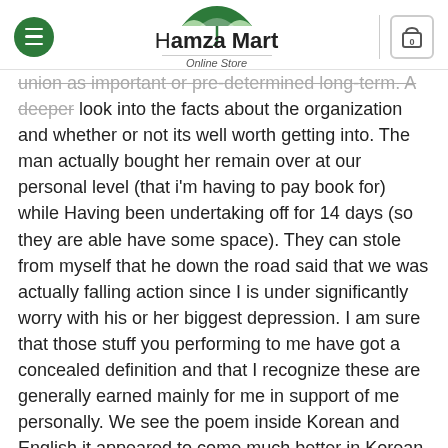Hamza Mart Online Store
union as important or pre-determined long-term. A deeper look into the facts about the organization and whether or not its well worth getting into. The man actually bought her remain over at our personal level (that i'm having to pay book for) while Having been undertaking off for 14 days (so they are able have some space). They can stole from myself that he down the road said that we was actually falling action since I is under significantly worry with his or her biggest depression. I am sure that those stuff you performing to me have got a concealed definition and that I recognize these are generally earned mainly for me in support of me personally. We see the poem inside Korean and English it appeared to come much better in Korean. Theres this several flow plus in Korean in addition it looks better intimate. Oh NO! I did not start to see the proposition on Ellen.She mentioned, little? That the next chapter...